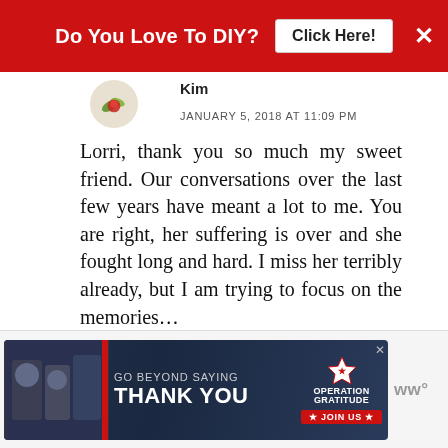[Figure (screenshot): Red DIY advertisement banner at top with text 'Do You Love To DIY?' and 'Click Here!' button]
Kim
JANUARY 5, 2018 AT 11:09 PM
Lorri, thank you so much my sweet friend. Our conversations over the last few years have meant a lot to me. You are right, her suffering is over and she fought long and hard. I miss her terribly already, but I am trying to focus on the memories…
DELETE
[Figure (screenshot): Bottom advertisement banner: 'GO BEYOND SAYING THANK YOU' with Operation Gratitude logo and JOIN US button]